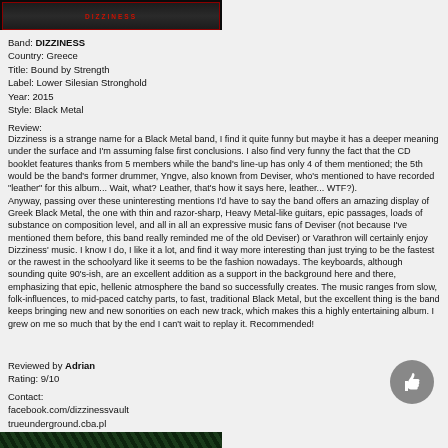[Figure (photo): Dark album cover image with red text/logo for Dizziness band - Bound by Strength]
Band: DIZZINESS
Country: Greece
Title: Bound by Strength
Label: Lower Silesian Stronghold
Year: 2015
Style: Black Metal
Review:
Dizziness is a strange name for a Black Metal band, I find it quite funny but maybe it has a deeper meaning under the surface and I'm assuming false first conclusions. I also find very funny the fact that the CD booklet features thanks from 5 members while the band's line-up has only 4 of them mentioned; the 5th would be the band's former drummer, Yngve, also known from Deviser, who's mentioned to have recorded "leather" for this album... Wait, what? Leather, that's how it says here, leather... WTF?).
Anyway, passing over these uninteresting mentions I'd have to say the band offers an amazing display of Greek Black Metal, the one with thin and razor-sharp, Heavy Metal-like guitars, epic passages, loads of substance on composition level, and all in all an expressive music fans of Deviser (not because I've mentioned them before, this band really reminded me of the old Deviser) or Varathron will certainly enjoy Dizziness' music. I know I do, I like it a lot, and find it way more interesting than just trying to be the fastest or the rawest in the schoolyard like it seems to be the fashion nowadays. The keyboards, although sounding quite 90's-ish, are an excellent addition as a support in the background here and there, emphasizing that epic, hellenic atmosphere the band so successfully creates. The music ranges from slow, folk-influences, to mid-paced catchy parts, to fast, traditional Black Metal, but the excellent thing is the band keeps bringing new and new sonorities on each new track, which makes this a highly entertaining album. I grew on me so much that by the end I can't wait to replay it. Recommended!
Reviewed by Adrian
Rating: 9/10
Contact:
facebook.com/dizzinessvault
trueunderground.cba.pl
[Figure (photo): Green-tinted photo at bottom of page]